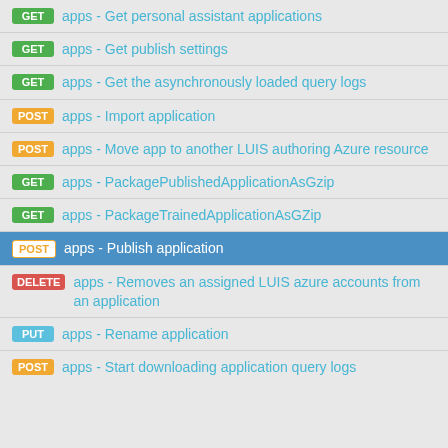GET  apps - Get personal assistant applications
GET  apps - Get publish settings
GET  apps - Get the asynchronously loaded query logs
POST  apps - Import application
POST  apps - Move app to another LUIS authoring Azure resource
GET  apps - PackagePublishedApplicationAsGzip
GET  apps - PackageTrainedApplicationAsGZip
POST  apps - Publish application
DELETE  apps - Removes an assigned LUIS azure accounts from an application
PUT  apps - Rename application
POST  apps - Start downloading application query logs